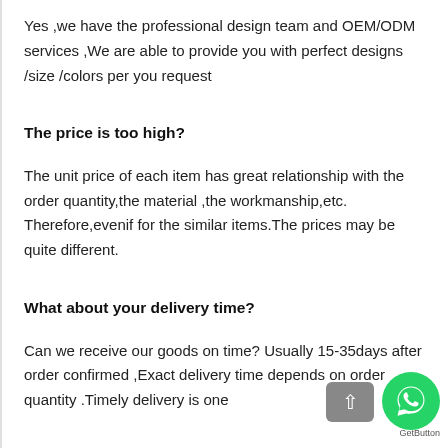Yes ,we have the professional design team and OEM/ODM services ,We are able to provide you with perfect designs /size /colors per you request
The price is too high?
The unit price of each item has great relationship with the order quantity,the material ,the workmanship,etc. Therefore,evenif for the similar items.The prices may be quite different.
What about your delivery time?
Can we receive our goods on time? Usually 15-35days after order confirmed ,Exact delivery time depends on order quantity .Timely delivery is one